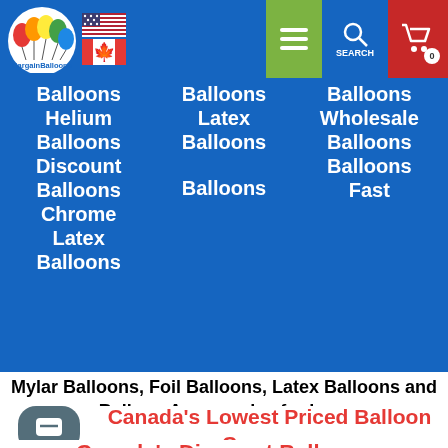[Figure (screenshot): BargainBalloons website header with logo, US and Canadian flags, hamburger menu (green), search button (blue), and cart button (red) with 0 badge]
Balloons Helium Balloons Discount Balloons Chrome Latex Balloons
Balloons Latex Balloons Balloons
Balloons Wholesale Balloons Balloons Fast
Mylar Balloons, Foil Balloons, Latex Balloons and Balloon Accessories for less.
Canada's Lowest Priced Balloon Company
Canada's Discount Balloons